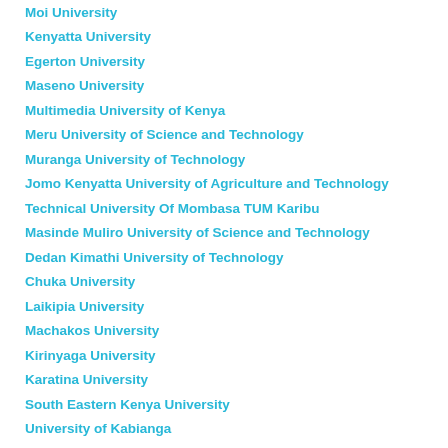Moi University
Kenyatta University
Egerton University
Maseno University
Multimedia University of Kenya
Meru University of Science and Technology
Muranga University of Technology
Jomo Kenyatta University of Agriculture and Technology
Technical University Of Mombasa TUM Karibu
Masinde Muliro University of Science and Technology
Dedan Kimathi University of Technology
Chuka University
Laikipia University
Machakos University
Kirinyaga University
Karatina University
South Eastern Kenya University
University of Kabianga
University Of Eldoret